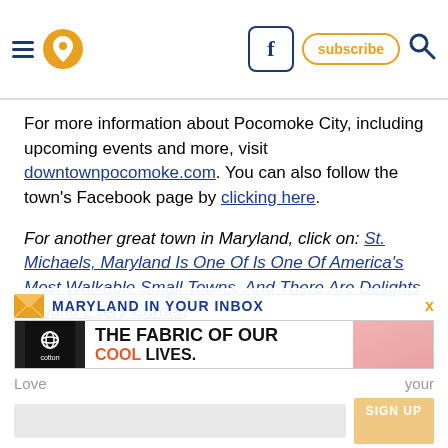Navigation header with hamburger menu, pin icon, Facebook link, subscribe button, search icon
For more information about Pocomoke City, including upcoming events and more, visit downtownpocomoke.com. You can also follow the town's Facebook page by clicking here.
For another great town in Maryland, click on: St. Michaels, Maryland Is One Of Is One Of America's Most Walkable Small Towns, And There Are Delights Around Every Corner!
Address: Pocomoke City, MD 21851, USA
[Figure (infographic): Advertisement banner showing Cotton Inc. 'The Fabric of Our Cool Lives' ad with logo, text, and pink fabric background. Also shows 'Maryland In Your Inbox' newsletter signup partial banner with envelope icon and Sign Up button.]